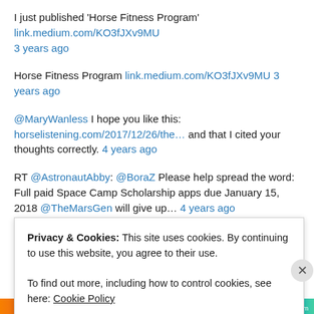I just published 'Horse Fitness Program' link.medium.com/KO3fJXv9MU 3 years ago
Horse Fitness Program link.medium.com/KO3fJXv9MU 3 years ago
@MaryWanless I hope you like this: horselistening.com/2017/12/26/the… and that I cited your thoughts correctly. 4 years ago
RT @AstronautAbby: @BoraZ Please help spread the word: Full paid Space Camp Scholarship apps due January 15, 2018 @TheMarsGen will give up… 4 years ago
I just published "The Mental Game Of Riding" medium.com/p/the-
Privacy & Cookies: This site uses cookies. By continuing to use this website, you agree to their use.
To find out more, including how to control cookies, see here: Cookie Policy
Close and accept